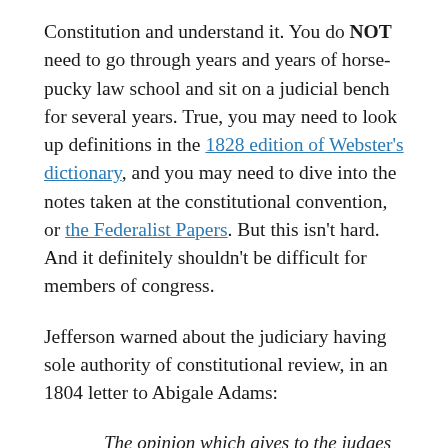Constitution and understand it. You do NOT need to go through years and years of horse-pucky law school and sit on a judicial bench for several years. True, you may need to look up definitions in the 1828 edition of Webster's dictionary, and you may need to dive into the notes taken at the constitutional convention, or the Federalist Papers. But this isn't hard. And it definitely shouldn't be difficult for members of congress.
Jefferson warned about the judiciary having sole authority of constitutional review, in an 1804 letter to Abigale Adams:
The opinion which gives to the judges the